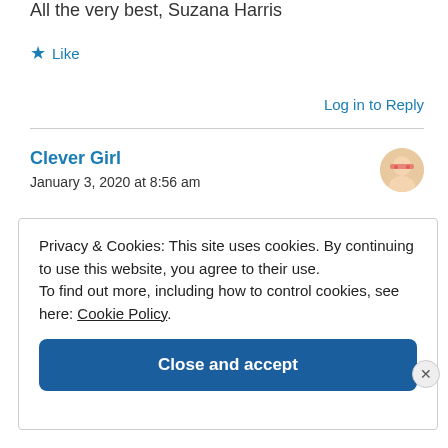All the very best, Suzana Harris
★ Like
Log in to Reply
Clever Girl
January 3, 2020 at 8:56 am
Privacy & Cookies: This site uses cookies. By continuing to use this website, you agree to their use.
To find out more, including how to control cookies, see here: Cookie Policy
Close and accept